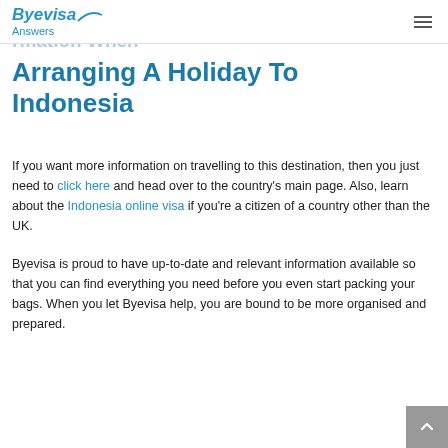Byevisa Answers
Arranging A Holiday To Indonesia
If you want more information on travelling to this destination, then you just need to click here and head over to the country's main page. Also, learn about the Indonesia online visa if you're a citizen of a country other than the UK.
Byevisa is proud to have up-to-date and relevant information available so that you can find everything you need before you even start packing your bags. When you let Byevisa help, you are bound to be more organised and prepared.